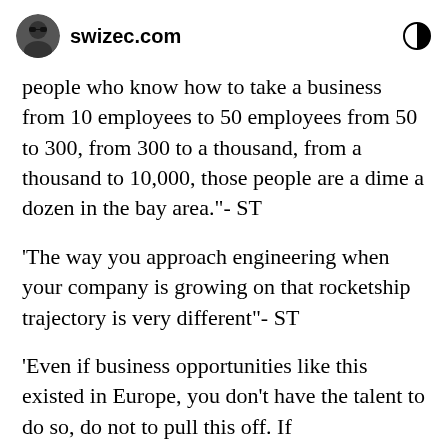swizec.com
people who know how to take a business from 10 employees to 50 employees from 50 to 300, from 300 to a thousand, from a thousand to 10,000, those people are a dime a dozen in the bay area."- ST
'The way you approach engineering when your company is growing on that rocketship trajectory is very different"- ST
'Even if business opportunities like this existed in Europe, you don't have the talent to do so, do not to pull this off. If